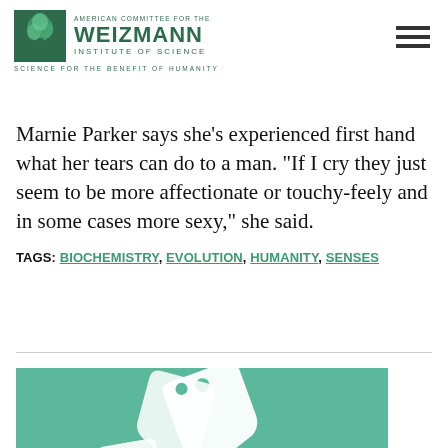[Figure (logo): American Committee for the Weizmann Institute of Science logo with green tree emblem, text reading AMERICAN COMMITTEE FOR THE WEIZMANN INSTITUTE OF SCIENCE, and tagline SCIENCE FOR THE BENEFIT OF HUMANITY]
Marnie Parker says she's experienced first hand what her tears can do to a man. “If I cry they just seem to be more affectionate or touchy-feely and in some cases more sexy,” she said.
TAGS: BIOCHEMISTRY, EVOLUTION, HUMANITY, SENSES
[Figure (illustration): Teal/green background with white price tag icons illustration]